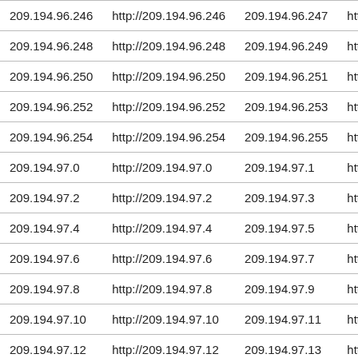| 209.194.96.246 | http://209.194.96.246 | 209.194.96.247 | http:// |
| 209.194.96.248 | http://209.194.96.248 | 209.194.96.249 | http:// |
| 209.194.96.250 | http://209.194.96.250 | 209.194.96.251 | http:// |
| 209.194.96.252 | http://209.194.96.252 | 209.194.96.253 | http:// |
| 209.194.96.254 | http://209.194.96.254 | 209.194.96.255 | http:// |
| 209.194.97.0 | http://209.194.97.0 | 209.194.97.1 | http:// |
| 209.194.97.2 | http://209.194.97.2 | 209.194.97.3 | http:// |
| 209.194.97.4 | http://209.194.97.4 | 209.194.97.5 | http:// |
| 209.194.97.6 | http://209.194.97.6 | 209.194.97.7 | http:// |
| 209.194.97.8 | http://209.194.97.8 | 209.194.97.9 | http:// |
| 209.194.97.10 | http://209.194.97.10 | 209.194.97.11 | http:// |
| 209.194.97.12 | http://209.194.97.12 | 209.194.97.13 | http:// |
| 209.194.97.14 | http://209.194.97.14 | 209.194.97.15 | http:// |